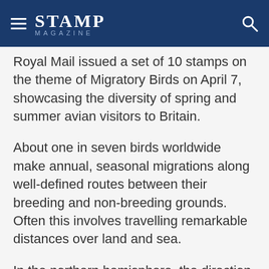STAMP MAGAZINE
Royal Mail issued a set of 10 stamps on the theme of Migratory Birds on April 7, showcasing the diversity of spring and summer avian visitors to Britain.
About one in seven birds worldwide make annual, seasonal migrations along well-defined routes between their breeding and non-breeding grounds. Often this involves travelling remarkable distances over land and sea.
In the northern hemisphere, the direction of travel is mostly from south to north to breed, then from north to south for the winter.